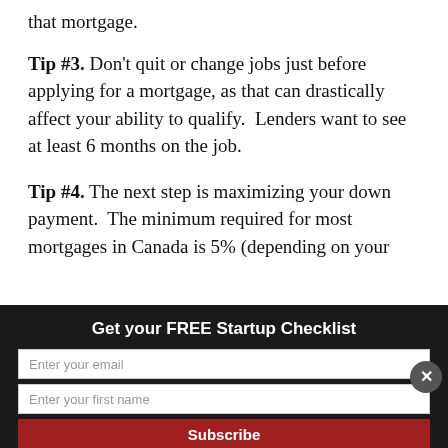that mortgage.
Tip #3. Don't quit or change jobs just before applying for a mortgage, as that can drastically affect your ability to qualify.  Lenders want to see at least 6 months on the job.
Tip #4. The next step is maximizing your down payment.  The minimum required for most mortgages in Canada is 5% (depending on your
Get your FREE Startup Checklist
Enter your email
Enter your first name
Subscribe